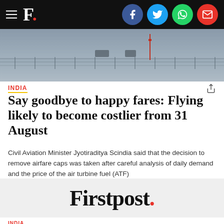F. [Firstpost logo with social icons: Facebook, Twitter, WhatsApp, Email]
[Figure (photo): Aerial view of airport tarmac/runway with fence in foreground, cloudy sky, grey tones]
INDIA
Say goodbye to happy fares: Flying likely to become costlier from 31 August
Civil Aviation Minister Jyotiraditya Scindia said that the decision to remove airfare caps was taken after careful analysis of daily demand and the price of the air turbine fuel (ATF)
[Figure (logo): Firstpost logo in large bold serif font with red period/dot]
INDIA